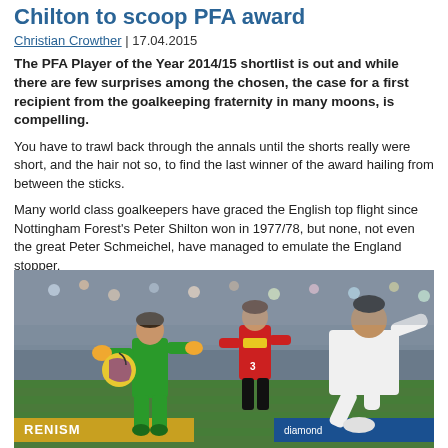Chilton to scoop PFA award
Christian Crowther | 17.04.2015
The PFA Player of the Year 2014/15 shortlist is out and while there are few surprises among the chosen, the case for a first recipient from the goalkeeping fraternity in many moons, is compelling.
You have to trawl back through the annals until the shorts really were short, and the hair not so, to find the last winner of the award hailing from between the sticks.
Many world class goalkeepers have graced the English top flight since Nottingham Forest's Peter Shilton won in 1977/78, but none, not even the great Peter Schmeichel, have managed to emulate the England stopper.
However, times may be changing and Manchester United's David De Gea should be the next to raise the goalkeeping flag.
[Figure (photo): Action photo of a football match: a goalkeeper in green kit (David De Gea) catches or blocks the ball, a Manchester United player in red is in the background, and a player in white kit challenges on the right. Stadium crowd visible in background.]